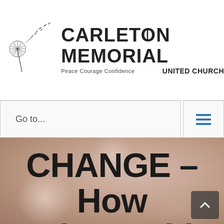[Figure (logo): Carleton Memorial United Church logo with dandelion illustration, text 'CARLETON MEMORIAL', 'Peace Courage Confidence', 'UNITED CHURCH']
Go to...
CHANGE – How to hear with your heart